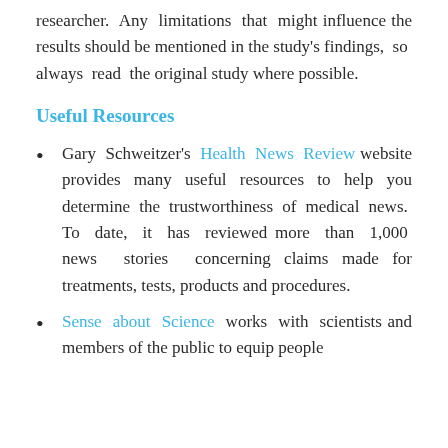researcher. Any limitations that might influence the results should be mentioned in the study's findings, so always read the original study where possible.
Useful Resources
Gary Schweitzer's Health News Review website provides many useful resources to help you determine the trustworthiness of medical news. To date, it has reviewed more than 1,000 news stories concerning claims made for treatments, tests, products and procedures.
Sense about Science works with scientists and members of the public to equip people